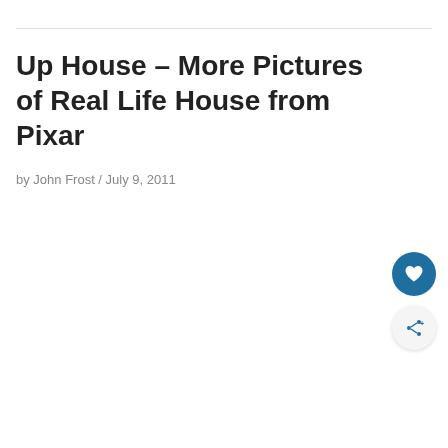Up House – More Pictures of Real Life House from Pixar
by John Frost / July 9, 2011
[Figure (other): Heart/like button (teal circle with white heart icon)]
[Figure (other): Share button (light circle with share/network icon and plus sign)]